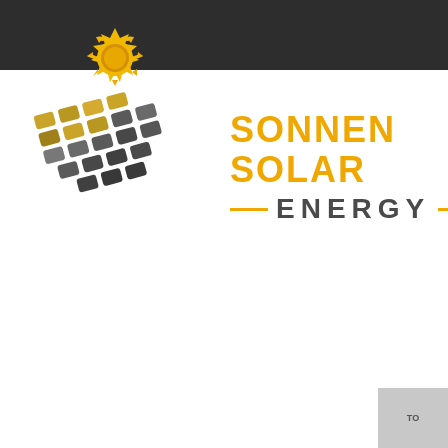[Figure (logo): Sonnen Solar Energy logo with solar panel graphic and sun icon on dark bar header background]
SONNEN SOLAR ENERGY